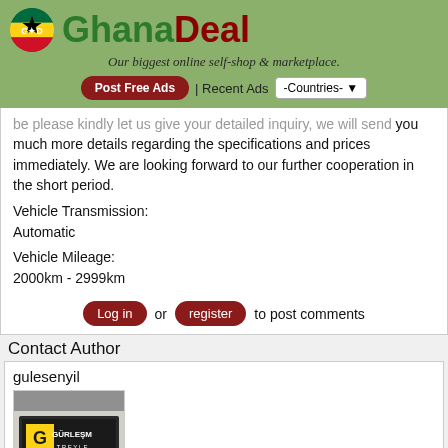GhanaDeal - Our biggest online self-shop & marketplace.
...please kindly let us give your detailed inquiry, we will send you much more details regarding the specifications and prices immediately. We are looking forward to our further cooperation in the short period.
Vehicle Transmission:
Automatic
Vehicle Mileage:
2000km - 2999km
Log in or register to post comments
Contact Author
gulesenyil
[Figure (photo): Photo of Gürleşme Treyle company logo/sign on a building exterior]